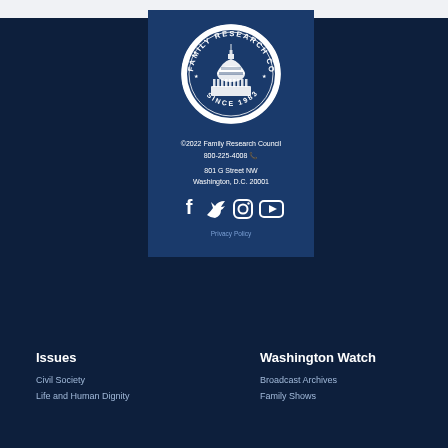[Figure (logo): Family Research Council circular seal logo with Capitol building illustration, text 'FAMILY RESEARCH COUNCIL' around the top arc and 'SINCE 1983' at the bottom]
©2022 Family Research Council
800-225-4008 📞
801 G Street NW
Washington, D.C. 20001
[Figure (illustration): Social media icons: Facebook, Twitter, Instagram, YouTube]
Privacy Policy
Issues
Civil Society
Life and Human Dignity
Washington Watch
Broadcast Archives
Family Shows